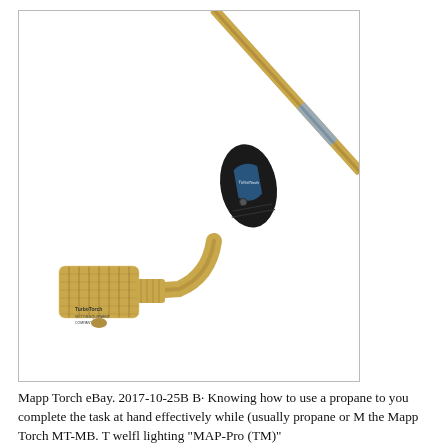[Figure (photo): A TurboTorch MAPP/propane torch with a brass body, black handle with blue TurboTorch logo label, bent brass hose connector, and a long brass nozzle/wand extending upward diagonally against a white background.]
Mapp Torch eBay. 2017-10-25B B· Knowing how to use a propane to you complete the task at hand effectively while (usually propane or M the Mapp Torch MT-MB. T welfl lighting "MAP-Pro (TM)"